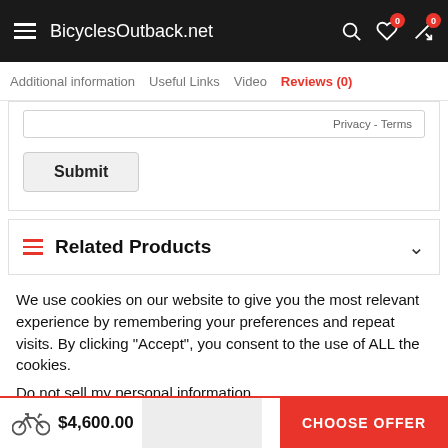BicyclesOutback.net
Additional information   Useful Links   Video   Reviews (0)
Privacy - Terms
Submit
Related Products
We use cookies on our website to give you the most relevant experience by remembering your preferences and repeat visits. By clicking “Accept”, you consent to the use of ALL the cookies.
Do not sell my personal information.
$4,600.00   CHOOSE OFFER